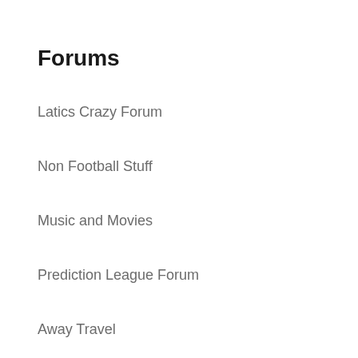Forums
Latics Crazy Forum
Non Football Stuff
Music and Movies
Prediction League Forum
Away Travel
Links to other sites